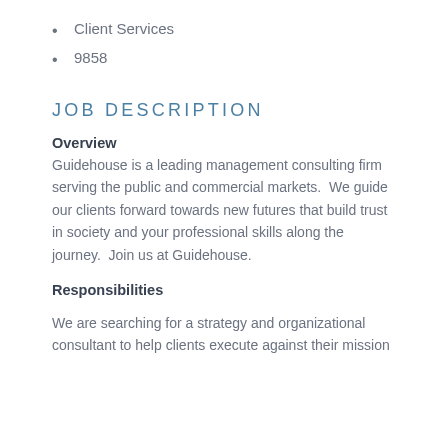Client Services
9858
JOB DESCRIPTION
Overview
Guidehouse is a leading management consulting firm serving the public and commercial markets.  We guide our clients forward towards new futures that build trust in society and your professional skills along the journey.  Join us at Guidehouse.
Responsibilities
We are searching for a strategy and organizational consultant to help clients execute against their mission